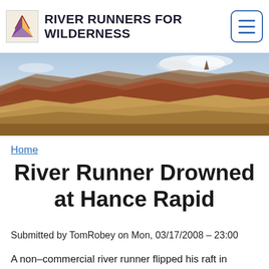RIVER RUNNERS FOR WILDERNESS
[Figure (photo): Panoramic photo of the Grand Canyon showing layered red and tan rock formations, canyon walls, and a partly cloudy sky.]
Home
River Runner Drowned at Hance Rapid
Submitted by TomRobey on Mon, 03/17/2008 – 23:00
A non–commercial river runner flipped his raft in Hance Rapid on the afternoon of March 16, 2008, on the Colorado River in Grand